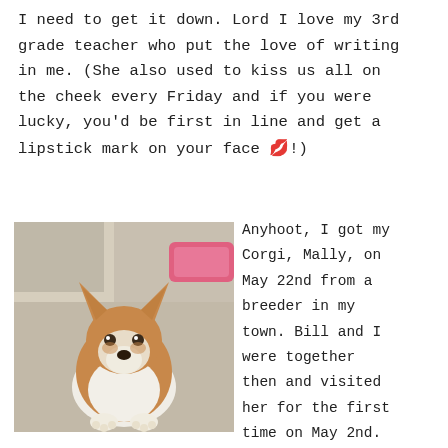I need to get it down. Lord I love my 3rd grade teacher who put the love of writing in me. (She also used to kiss us all on the cheek every Friday and if you were lucky, you'd be first in line and get a lipstick mark on your face 💋!)
[Figure (photo): A Corgi puppy sitting on a floor, looking at the camera. The puppy is tan and white with large ears. A sofa and a pink dog bed are visible in the background.]
Anyhoot, I got my Corgi, Mally, on May 22nd from a breeder in my town. Bill and I were together then and visited her for the first time on May 2nd.